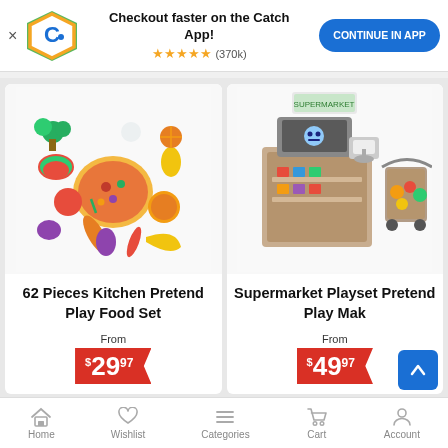[Figure (screenshot): Catch app logo — orange/green pentagon shield with blue C letter and dot]
Checkout faster on the Catch App!
★★★★★ (370k)
CONTINUE IN APP
[Figure (photo): 62 pieces colorful toy food set including vegetables, fruits, and pizza pieces scattered on white background]
62 Pieces Kitchen Pretend Play Food Set
From
$29.97
[Figure (photo): Toy supermarket playset with register counter, shelves, and shopping cart with toy groceries]
Supermarket Playset Pretend Play Mak
From
$49.97
Home
Wishlist
Categories
Cart
Account